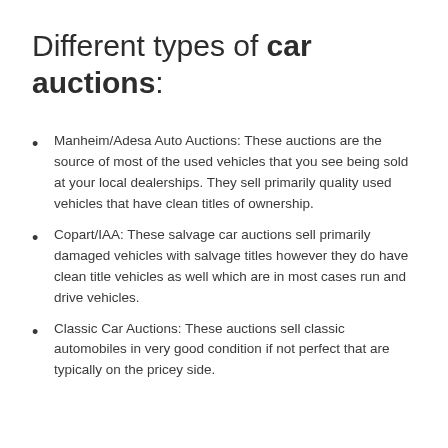Different types of car auctions:
Manheim/Adesa Auto Auctions: These auctions are the source of most of the used vehicles that you see being sold at your local dealerships. They sell primarily quality used vehicles that have clean titles of ownership.
Copart/IAA: These salvage car auctions sell primarily damaged vehicles with salvage titles however they do have clean title vehicles as well which are in most cases run and drive vehicles.
Classic Car Auctions: These auctions sell classic automobiles in very good condition if not perfect that are typically on the pricey side.